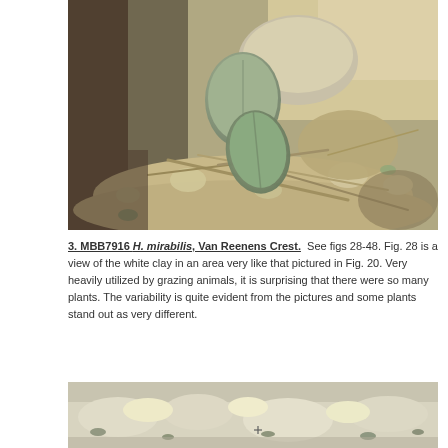[Figure (photo): Close-up photograph of Haworthia mirabilis plants (two succulent leaves visible) growing among rocks, soil, and dry twigs at Van Reenens Crest.]
3. MBB7916 H. mirabilis, Van Reenens Crest.  See figs 28-48. Fig. 28 is a view of the white clay in an area very like that pictured in Fig. 20. Very heavily utilized by grazing animals, it is surprising that there were so many plants. The variability is quite evident from the pictures and some plants stand out as very different.
[Figure (photo): Photograph of rocky white clay terrain at Van Reenens Crest showing the habitat where H. mirabilis plants grow, with sparse vegetation visible.]